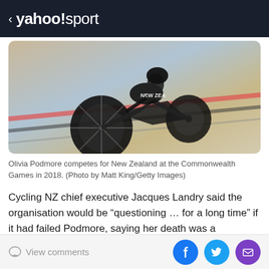< yahoo!sport
[Figure (photo): Olivia Podmore competing on a track bicycle for New Zealand at the Commonwealth Games in 2018, leaning on a velodrome track]
Olivia Podmore competes for New Zealand at the Commonwealth Games in 2018. (Photo by Matt King/Getty Images)
Cycling NZ chief executive Jacques Landry said the organisation would be “questioning … for a long time” if it had failed Podmore, saying her death was a “tremendous loss”.
"Right now for us it's about focusing on the wellbeing of the people who are here and having to deal with this
View comments